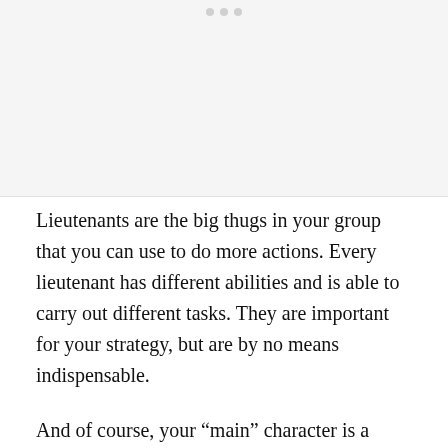[Figure (other): Gray image placeholder area with three small dots at the top center indicating a loading or placeholder image region.]
Lieutenants are the big thugs in your group that you can use to do more actions. Every lieutenant has different abilities and is able to carry out different tasks. They are important for your strategy, but are by no means indispensable.
And of course, your “main” character is a lieutenant. And if you get shot down by police or another gang, your legacy lives on in another of your lieutenants. This continuity is the final link between the personal involvement and the omnipotent position